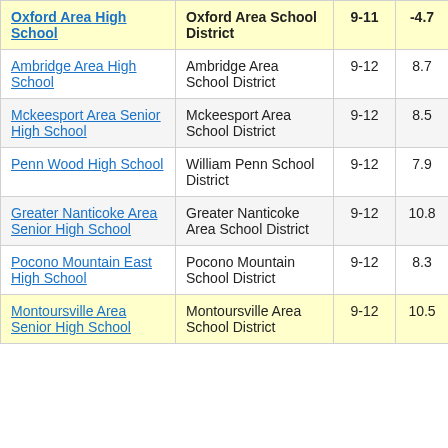| School | District | Grades | Score |
| --- | --- | --- | --- |
| Oxford Area High School | Oxford Area School District | 9-11 | -4.7 |
| Ambridge Area High School | Ambridge Area School District | 9-12 | 8.7 |
| Mckeesport Area Senior High School | Mckeesport Area School District | 9-12 | 8.5 |
| Penn Wood High School | William Penn School District | 9-12 | 7.9 |
| Greater Nanticoke Area Senior High School | Greater Nanticoke Area School District | 9-12 | 10.8 |
| Pocono Mountain East High School | Pocono Mountain School District | 9-12 | 8.3 |
| Montoursville Area Senior High School | Montoursville Area School District | 9-12 | 10.5 |